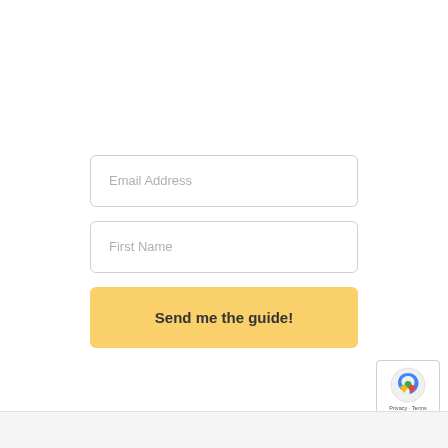Email Address
First Name
Send me the guide!
[Figure (other): reCAPTCHA badge with logo and Privacy · Terms text]